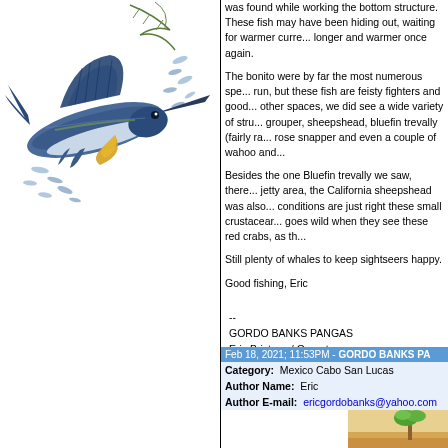[Figure (illustration): Illustration of a sailfish or marlin jumping out of water with small fish around it, colorful watercolor style]
was found while working the bottom structure. These fish may have been hiding out, waiting for warmer currents as the days get longer and warmer once again.
The bonito were by far the most numerous spe... run, but these fish are feisty fighters and good... other spaces, we did see a wide variety of stru... grouper, sheepshead, bluefin trevally (fairly ra... rose snapper and even a couple of wahoo and...
Besides the one Bluefin trevally we saw, there... jetty area, the California sheepshead was also... conditions are just right these small crustacear... goes wild when they see these red crabs, as th...
Still plenty of whales to keep sightseers happy.
Good fishing, Eric
--
GORDO BANKS PANGAS
Eric Brictson / Operator
619 488-1859
Los Cabos (624) 142-1147
e-mail:gordobanks@yahoo.com
WWW.GORDOBANKS.COM
Feb 18, 2021; 11:53PM - GORDO BANKS PA...
| Field | Value |
| --- | --- |
| Category: | Mexico Cabo San Lucas |
| Author Name: | Eric |
| Author E-mail: | ericgordobanks@yahoo.com |
[Figure (photo): Partial image of what appears to be a beach or tropical scene visible at bottom right]